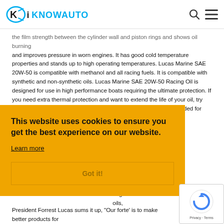iKNOWAUTO
the film strength between the cylinder wall and piston rings and shows oil burning and improves pressure in worn engines. It has good cold temperature properties and stands up to high operating temperatures. Lucas Marine SAE 20W-50 is compatible with methanol and all racing fuels. It is compatible with synthetic and non-synthetic oils. Lucas Marine SAE 20W-50 Racing Oil is designed for use in high performance boats requiring the ultimate protection. If you need extra thermal protection and want to extend the life of your oil, try our Marine Semi-Synthetic SAE 20W-50 Racing Oil. Not recommended for passenger car use.
MANUFACTURER
...philosophy of ...where. ...bjective. ...ngressive ...tive line in ...ring ...oils,
[Figure (screenshot): Cookie consent banner with orange background reading: This website uses cookies to ensure you get the best experience on our website. Learn more. Got it! button.]
[Figure (screenshot): reCAPTCHA badge with circular arrow logo and Privacy - Terms text.]
President Forrest Lucas sums it up, "Our forte' is to make better products for